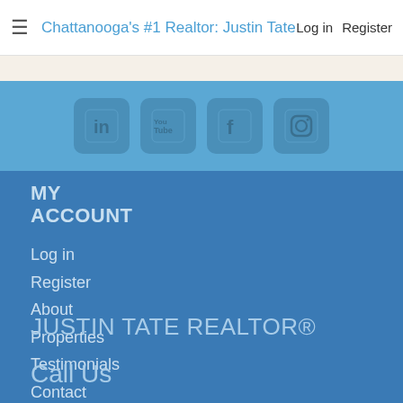≡ Chattanooga's #1 Realtor: Justin Tate   Log in   Register
[Figure (other): Social media icon buttons: LinkedIn, YouTube, Facebook, Instagram]
MY ACCOUNT
Log in
Register
About
Properties
Testimonials
Contact
JUSTIN TATE REALTOR®
Call Us